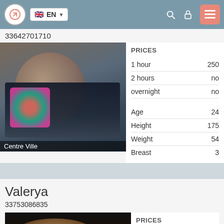EN navigation bar with logo, language selector, search, lock, and menu icons
33642701710
[Figure (photo): Photo of a young woman in a colorful bikini top lying down, with 'Centre Ville' label overlay]
|  |  |
| --- | --- |
| PRICES |  |
| 1 hour | 250 |
| 2 hours | no |
| overnight | no |
| Age | 24 |
| Height | 175 |
| Weight | 54 |
| Breast | 3 |
Valerya
33753086835
[Figure (photo): Partial photo of a person with light-colored hair against dark background]
|  |  |
| --- | --- |
| PRICES |  |
| 1 hour | 200 |